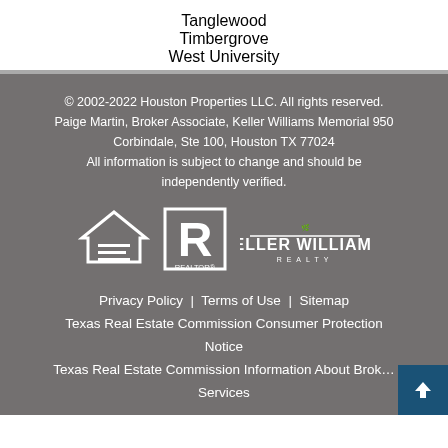Tanglewood
Timbergrove
West University
© 2002-2022 Houston Properties LLC. All rights reserved. Paige Martin, Broker Associate, Keller Williams Memorial 950 Corbindale, Ste 100, Houston TX 77024 All information is subject to change and should be independently verified.
[Figure (logo): Equal Housing Opportunity logo, Realtor logo, and Keller Williams Realty logo]
Privacy Policy | Terms of Use | Sitemap | Texas Real Estate Commission Consumer Protection Notice | Texas Real Estate Commission Information About Brokerage Services